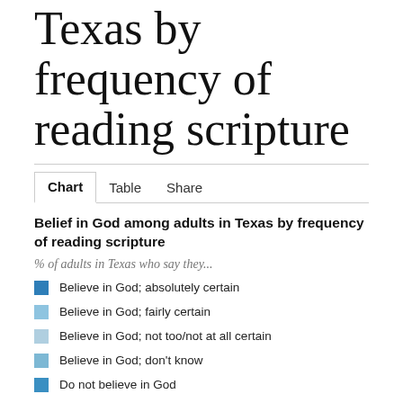Texas by frequency of reading scripture
Belief in God among adults in Texas by frequency of reading scripture
% of adults in Texas who say they...
Believe in God; absolutely certain
Believe in God; fairly certain
Believe in God; not too/not at all certain
Believe in God; don't know
Do not believe in God